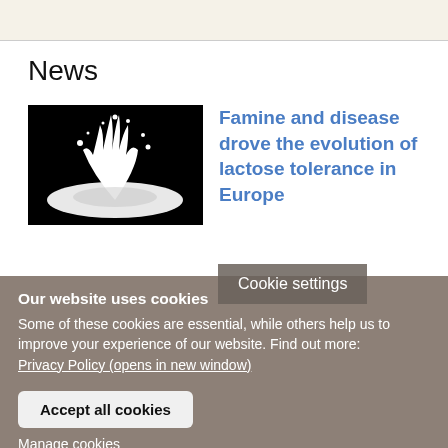[Figure (photo): Black and white photo of a milk splash drop]
Famine and disease drove the evolution of lactose tolerance in Europe
Cookie settings
Our website uses cookies
Some of these cookies are essential, while others help us to improve your experience of our website. Find out more:
Privacy Policy (opens in new window)
Accept all cookies
Manage cookies